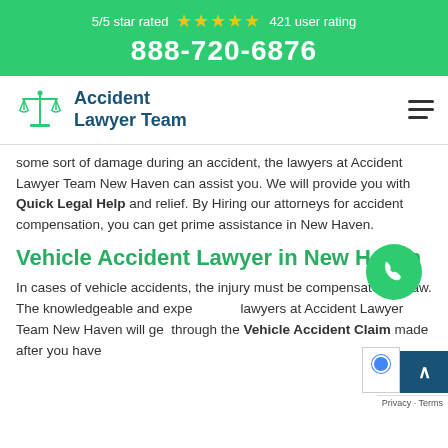5/5 star rated ★★★★★ 421 user rating 888-720-6876
[Figure (logo): Accident Lawyer Team logo with scales of justice icon and blue text]
some sort of damage during an accident, the lawyers at Accident Lawyer Team New Haven can assist you. We will provide you with Quick Legal Help and relief. By Hiring our attorneys for accident compensation, you can get prime assistance in New Haven.
Vehicle Accident Lawyer in New Haven
In cases of vehicle accidents, the injury must be compensated by law. The knowledgeable and experienced lawyers at Accident Lawyer Team New Haven will get through the Vehicle Accident Claim made after you have